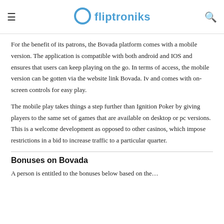fliptroniks
For the benefit of its patrons, the Bovada platform comes with a mobile version. The application is compatible with both android and IOS and ensures that users can keep playing on the go. In terms of access, the mobile version can be gotten via the website link Bovada. Iv and comes with on-screen controls for easy play.
The mobile play takes things a step further than Ignition Poker by giving players to the same set of games that are available on desktop or pc versions. This is a welcome development as opposed to other casinos, which impose restrictions in a bid to increase traffic to a particular quarter.
Bonuses on Bovada
A person is entitled to the bonuses below based on the...